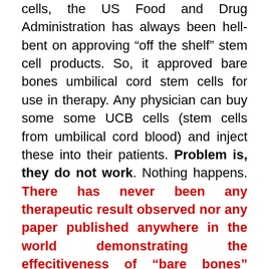cells, the US Food and Drug Administration has always been hell-bent on approving “off the shelf” stem cell products. So, it approved bare bones umbilical cord stem cells for use in therapy. Any physician can buy some some UCB cells (stem cells from umbilical cord blood) and inject these into their patients. Problem is, they do not work. Nothing happens. There has never been any therapeutic result observed nor any paper published anywhere in the world demonstrating the effecitiveness of “bare bones” UCB’s for anything!
So, what happend next, beginning around 2019-2020 was the realization (almost 15 years after the paired mice experiment) that it must be exosomes and small messenger molecules, serum factors and the like that are needed. Recall that SVF (stromal vascular fraction) is the liquid gold of stem cell therapy, cures and controls a